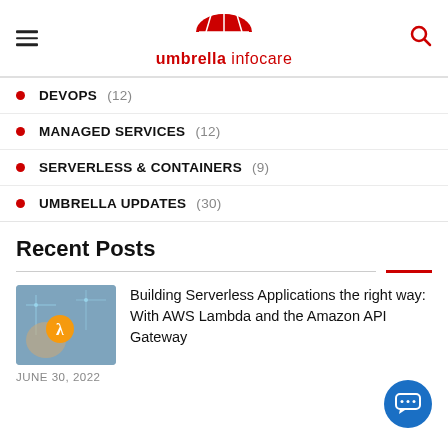umbrella infocare
DEVOPS (12)
MANAGED SERVICES (12)
SERVERLESS & CONTAINERS (9)
UMBRELLA UPDATES (30)
Recent Posts
[Figure (photo): Thumbnail image showing AWS Lambda logo on a tech/circuit background]
Building Serverless Applications the right way: With AWS Lambda and the Amazon API Gateway
JUNE 30, 2022